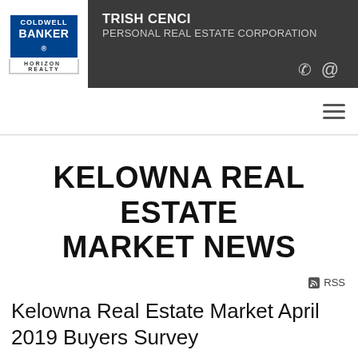TRISH CENCI PERSONAL REAL ESTATE CORPORATION
KELOWNA REAL ESTATE MARKET NEWS
RSS
Kelowna Real Estate Market April 2019 Buyers Survey